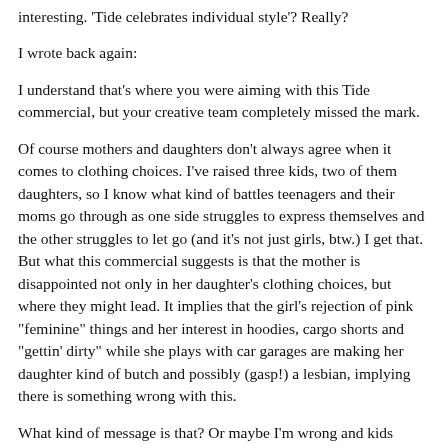interesting. 'Tide celebrates individual style'? Really?
I wrote back again:
I understand that's where you were aiming with this Tide commercial, but your creative team completely missed the mark.
Of course mothers and daughters don't always agree when it comes to clothing choices. I've raised three kids, two of them daughters, so I know what kind of battles teenagers and their moms go through as one side struggles to express themselves and the other struggles to let go (and it's not just girls, btw.) I get that. But what this commercial suggests is that the mother is disappointed not only in her daughter's clothing choices, but where they might lead. It implies that the girl's rejection of pink "feminine" things and her interest in hoodies, cargo shorts and "gettin' dirty" while she plays with car garages are making her daughter kind of butch and possibly (gasp!) a lesbian, implying there is something wrong with this.
What kind of message is that? Or maybe I'm wrong and kids...